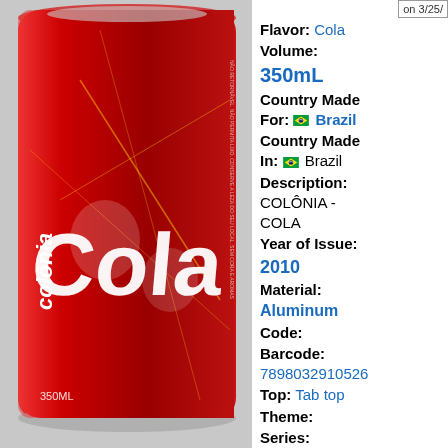[Figure (photo): Red aluminum soda can labeled 'Colônia Cola' with white lettering and graphic design, 350mL, photographed against a light background.]
on 3/25/
Flavor: Cola
Volume: 350mL
Country Made For: Brazil
Country Made In: Brazil
Description: COLÔNIA - COLA
Year of Issue: 2010
Material: Aluminum
Code:
Barcode: 7898032910526
Top: Tab top
Theme:
Series: